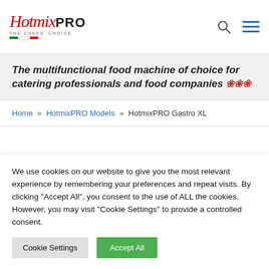[Figure (logo): HotmixPRO logo with italic red script 'Hotmix' and bold black 'PRO', tagline 'THE CHEFS' CHOICE', Italian flag colors beneath]
The multifunctional food machine of choice for catering professionals and food companies ❀❀❀
Home » HotmixPRO Models » HotmixPRO Gastro XL
HotmixPRO Gastro XL
We use cookies on our website to give you the most relevant experience by remembering your preferences and repeat visits. By clicking "Accept All", you consent to the use of ALL the cookies. However, you may visit "Cookie Settings" to provide a controlled consent.